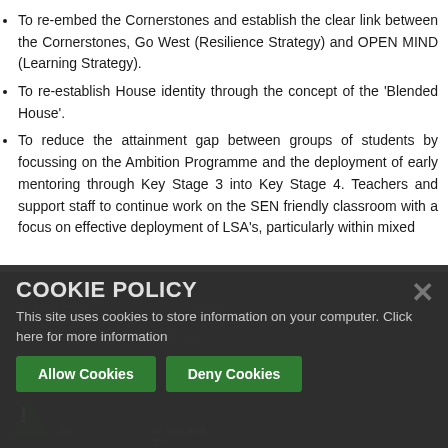To re-embed the Cornerstones and establish the clear link between the Cornerstones, Go West (Resilience Strategy) and OPEN MIND (Learning Strategy).
To re-establish House identity through the concept of the 'Blended House'.
To reduce the attainment gap between groups of students by focussing on the Ambition Programme and the deployment of early mentoring through Key Stage 3 into Key Stage 4. Teachers and support staff to continue work on the SEN friendly classroom with a focus on effective deployment of LSA's, particularly within mixed attainment groups.
[Figure (screenshot): Cookie policy banner overlay on dark background section of a school website. Banner contains title 'COOKIE POLICY', descriptive text, and two green buttons: 'Allow Cookies' and 'Deny Cookies'. A close X button appears top right of banner.]